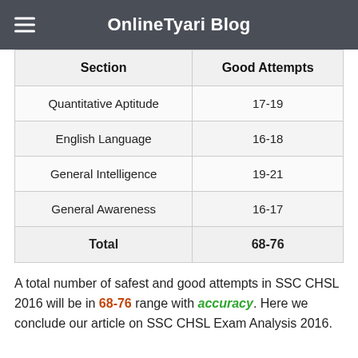OnlineTyari Blog
| Section | Good Attempts |
| --- | --- |
| Quantitative Aptitude | 17-19 |
| English Language | 16-18 |
| General Intelligence | 19-21 |
| General Awareness | 16-17 |
| Total | 68-76 |
A total number of safest and good attempts in SSC CHSL 2016 will be in 68-76 range with accuracy. Here we conclude our article on SSC CHSL Exam Analysis 2016.